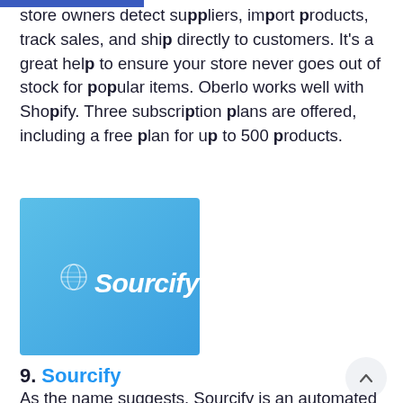store owners detect suppliers, import products, track sales, and ship directly to customers. It's a great help to ensure your store never goes out of stock for popular items. Oberlo works well with Shopify. Three subscription plans are offered, including a free plan for up to 500 products.
[Figure (logo): Sourcify logo — white italic text 'Sourcify' with a small globe icon on a blue gradient background]
9. Sourcify
As the name suggests, Sourcify is an automated